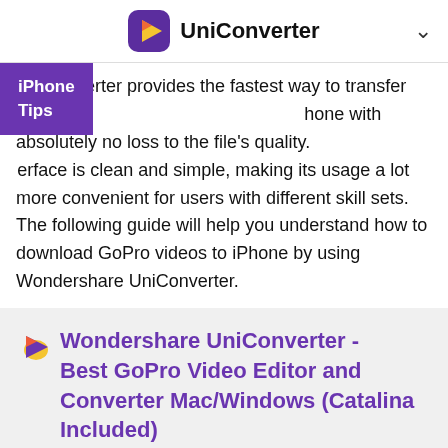UniConverter
UniConverter provides the fastest way to transfer GoPro videos to iPhone with absolutely no loss to the file's quality. The interface is clean and simple, making its usage a lot more convenient for users with different skill sets. The following guide will help you understand how to download GoPro videos to iPhone by using Wondershare UniConverter.
[Figure (screenshot): Wondershare UniConverter promotional box with purple icon and title: Wondershare UniConverter - Best GoPro Video Editor and Converter Mac/Windows (Catalina Included), with product image at bottom]
iPhone Tips